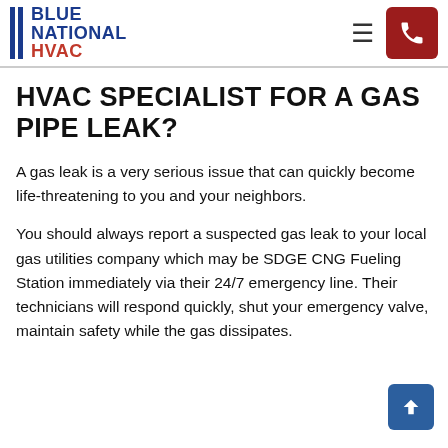BLUE NATIONAL HVAC
HVAC SPECIALIST FOR A GAS PIPE LEAK?
A gas leak is a very serious issue that can quickly become life-threatening to you and your neighbors.
You should always report a suspected gas leak to your local gas utilities company which may be SDGE CNG Fueling Station immediately via their 24/7 emergency line. Their technicians will respond quickly, shut your emergency valve, maintain safety while the gas dissipates.